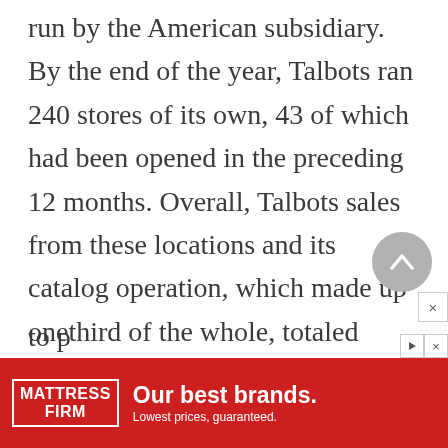run by the American subsidiary. By the end of the year, Talbots ran 240 stores of its own, 43 of which had been opened in the preceding 12 months. Overall, Talbots sales from these locations and its catalog operation, which made up onethird of the whole, totaled more than $500 million. Part of Talbots’ strategy for maintaining its profitability was to resist the lure of constant discounting to p[artially visible]
[Figure (other): Advertisement banner for Mattress Firm reading 'Our best brands. Lowest prices, guaranteed.' with red background and white text.]